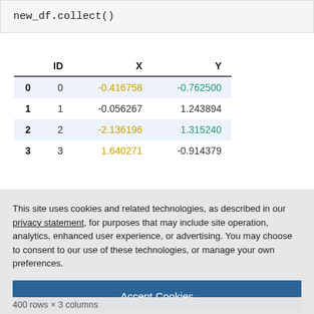new_df.collect()
|  | ID | X | Y |
| --- | --- | --- | --- |
| 0 | 0 | -0.416758 | -0.762500 |
| 1 | 1 | -0.056267 | 1.243894 |
| 2 | 2 | -2.136196 | 1.315240 |
| 3 | 3 | 1.640271 | -0.914379 |
This site uses cookies and related technologies, as described in our privacy statement, for purposes that may include site operation, analytics, enhanced user experience, or advertising. You may choose to consent to our use of these technologies, or manage your own preferences.
Accept Cookies
More Information
Privacy Policy | Powered by: TrustArc
400 rows × 3 columns